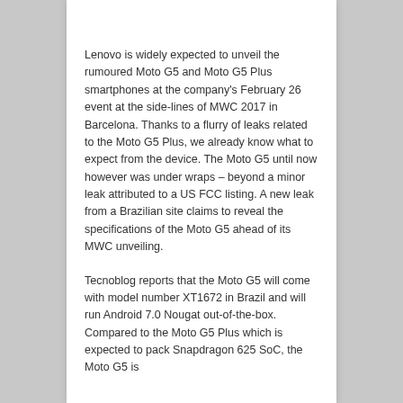Lenovo is widely expected to unveil the rumoured Moto G5 and Moto G5 Plus smartphones at the company's February 26 event at the side-lines of MWC 2017 in Barcelona. Thanks to a flurry of leaks related to the Moto G5 Plus, we already know what to expect from the device. The Moto G5 until now however was under wraps – beyond a minor leak attributed to a US FCC listing. A new leak from a Brazilian site claims to reveal the specifications of the Moto G5 ahead of its MWC unveiling.
Tecnoblog reports that the Moto G5 will come with model number XT1672 in Brazil and will run Android 7.0 Nougat out-of-the-box. Compared to the Moto G5 Plus which is expected to pack Snapdragon 625 SoC, the Moto G5 is